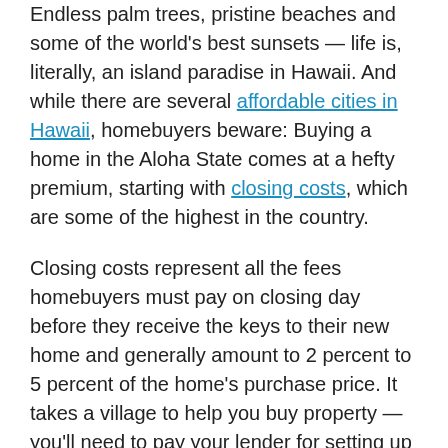Endless palm trees, pristine beaches and some of the world's best sunsets — life is, literally, an island paradise in Hawaii. And while there are several affordable cities in Hawaii, homebuyers beware: Buying a home in the Aloha State comes at a hefty premium, starting with closing costs, which are some of the highest in the country.
Closing costs represent all the fees homebuyers must pay on closing day before they receive the keys to their new home and generally amount to 2 percent to 5 percent of the home's purchase price. It takes a village to help you buy property — you'll need to pay your lender for setting up your mortgage, your appraiser and inspector for scoping out your new home, and your home insurance provider, as prime examples. Instead of paying each service provider individually, you'll